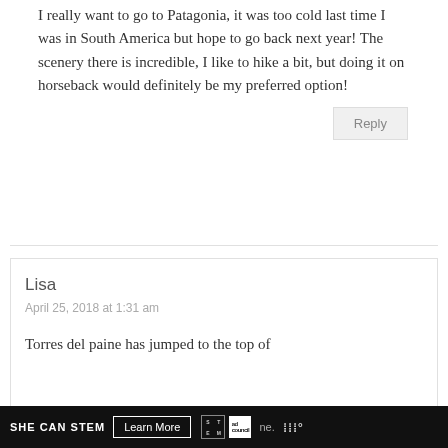I really want to go to Patagonia, it was too cold last time I was in South America but hope to go back next year! The scenery there is incredible, I like to hike a bit, but doing it on horseback would definitely be my preferred option!
Reply
Lisa
April 25, 2018 at 1:31 am
Torres del paine has jumped to the top of
SHE CAN STEM   Learn More